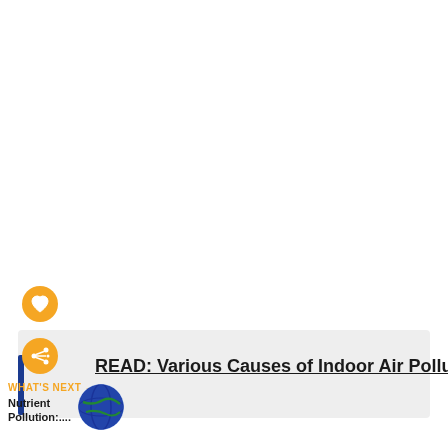[Figure (screenshot): White blank area occupying the upper portion of the page, representing a cropped web page content area.]
[Figure (illustration): Orange circular button with a white heart icon, representing a 'like' or 'favorite' action button on a webpage.]
[Figure (illustration): Orange circular button with a white share/network icon, representing a share action button on a webpage.]
READ: Various Causes of Indoor Air Pollution
WHAT'S NEXT →
Nutrient Pollution:....
[Figure (illustration): Small circular thumbnail image showing a globe/Earth, used as a preview image for the 'What's Next' navigation element.]